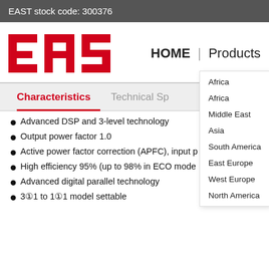EAST stock code: 300376
[Figure (logo): EAST logo in red bold text with registered trademark symbol]
HOME | Products
Africa
Africa
Middle East
Asia
South America
East Europe
West Europe
North America
Characteristics
Technical Sp
Advanced DSP and 3-level technology
Output power factor 1.0
Active power factor correction (APFC), input p…0.9
High efficiency 95% (up to 98% in ECO mode
Advanced digital parallel technology
3①1 to 1①1 model settable